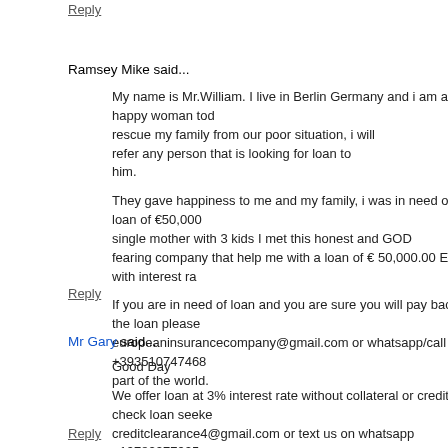Reply
Ramsey Mike said...
My name is Mr.William. I live in Berlin Germany and i am a happy woman today? rescue my family from our poor situation, i will refer any person that is looking for loan to him.

They gave happiness to me and my family, i was in need of a loan of €50,000 single mother with 3 kids I met this honest and GOD fearing company that help me with a loan of € 50,000.00 Euro with interest ra

If you are in need of loan and you are sure you will pay back the loan please europeaninsurancecompany@gmail.com or whatsapp/call : +393510747468 part of the world.
Reply
Mr Gary said...
Good Day

We offer loan at 3% interest rate without collateral or credit check loan seeke creditclearance4@gmail.com or text us on whatsapp +19782277925 Thanks Mr Roland Diego
Reply